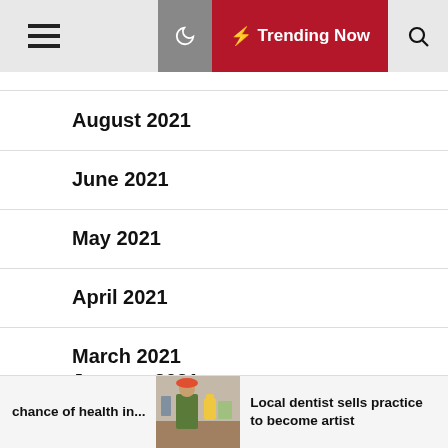Trending Now
August 2021
June 2021
May 2021
April 2021
March 2021
January 2021
December 2020
chance of health in...
[Figure (photo): A person in a shop wearing a bright outfit]
Local dentist sells practice to become artist